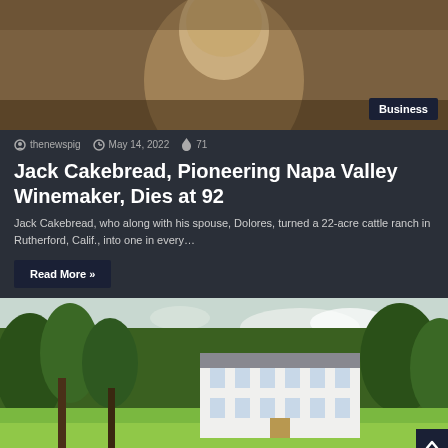[Figure (photo): Sepia-toned portrait photo of a smiling older man, partially visible at top of page. 'Business' badge in bottom right corner.]
thenewspig  May 14, 2022  71
Jack Cakebread, Pioneering Napa Valley Winemaker, Dies at 92
Jack Cakebread, who along with his spouse, Dolores, turned a 22-acre cattle ranch in Rutherford, Calif., into one in every…
Read More »
[Figure (photo): Color photograph of a large white manor house surrounded by green trees and lawn, with a partly cloudy sky.]